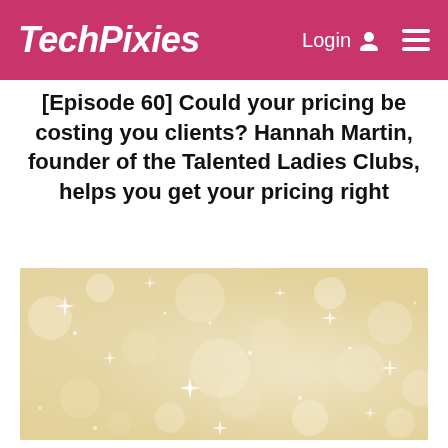TechPixies  Login  ☰
[Episode 60] Could your pricing be costing you clients? Hannah Martin, founder of the Talented Ladies Clubs, helps you get your pricing right
[Figure (photo): Sparkly gold/cream glitter bokeh background with white star-shaped sparkles scattered throughout]